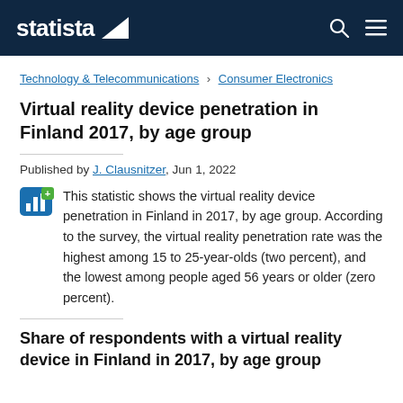statista
Technology & Telecommunications › Consumer Electronics
Virtual reality device penetration in Finland 2017, by age group
Published by J. Clausnitzer, Jun 1, 2022
This statistic shows the virtual reality device penetration in Finland in 2017, by age group. According to the survey, the virtual reality penetration rate was the highest among 15 to 25-year-olds (two percent), and the lowest among people aged 56 years or older (zero percent).
Share of respondents with a virtual reality device in Finland in 2017, by age group